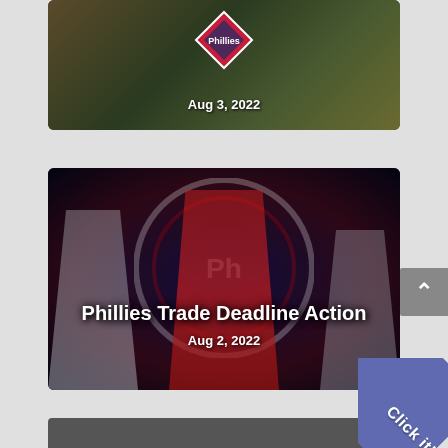[Figure (photo): Top card partially visible: Phillies diamond logo with autumn background, dated Aug 3, 2022]
[Figure (photo): Middle card: Phillies Trade Deadline Action article card showing baseball players in Angels and Phillies uniforms against Phillies logo background, dated Aug 2, 2022]
[Figure (photo): Bottom card partially visible at bottom of page]
[Figure (other): Scroll-to-top button with upward arrow on right side]
[Figure (other): Click it! corner banner in blue/purple on bottom right]